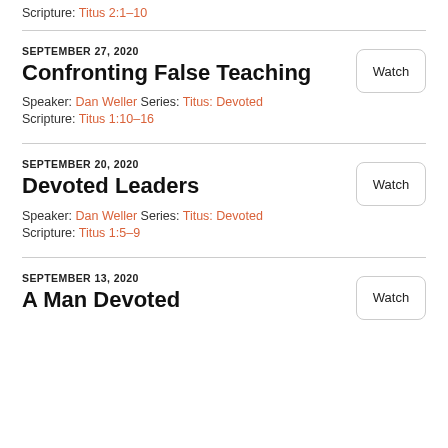Scripture: Titus 2:1–10
SEPTEMBER 27, 2020
Confronting False Teaching
Speaker: Dan Weller Series: Titus: Devoted
Scripture: Titus 1:10–16
SEPTEMBER 20, 2020
Devoted Leaders
Speaker: Dan Weller Series: Titus: Devoted
Scripture: Titus 1:5–9
SEPTEMBER 13, 2020
A Man Devoted